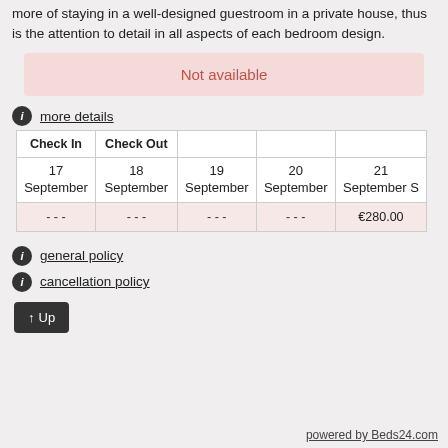more of staying in a well-designed guestroom in a private house, thus is the attention to detail in all aspects of each bedroom design.
Not available
more details
| Check In | Check Out |  |  |  |
| --- | --- | --- | --- | --- |
| 17 September | 18 September | 19 September | 20 September | 21 September S |
| - - - | - - - | - - - | - - - | €280.00 |
general policy
cancellation policy
↑Up
powered by Beds24.com